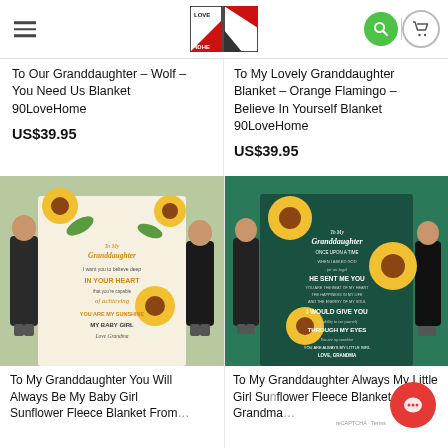90LoveHome — hamburger menu, logo, search, cart
To Our Granddaughter – Wolf – You Need Us Blanket 90LoveHome
US$39.95
To My Lovely Granddaughter Blanket – Orange Flamingo – Believe In Yourself Blanket 90LoveHome
US$39.95
[Figure (photo): Two women holding a white sunflower-themed blanket with text 'To My Granddaughter I want you to believe deep IN YOUR HEART…YOU ARE MY SUNSHINE MY BABY GIRL Love Grandma']
[Figure (photo): Two women holding a dark teal sunflower-themed blanket with text 'To My Granddaughter ONCE UPON A TIME… HE SENT ME YOU… I WOULD GIVE YOU… THROUGH MY EYES… You are my sunshine YOU ARE ALWAYS MY LITTLE GIRL LOVE, GRANDMA']
To My Granddaughter You Will Always Be My Baby Girl Sunflower Fleece Blanket From…
To My Granddaughter Always My Little Girl Sunflower Fleece Blanket From Grandma…